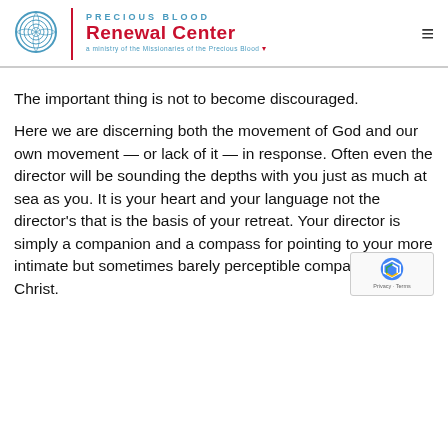Precious Blood Renewal Center – a ministry of the Missionaries of the Precious Blood
The important thing is not to become discouraged.
Here we are discerning both the movement of God and our own movement — or lack of it — in response. Often even the director will be sounding the depths with you just as much at sea as you. It is your heart and your language not the director's that is the basis of your retreat. Your director is simply a companion and a compass for pointing to your more intimate but sometimes barely perceptible companion, Jesus Christ.